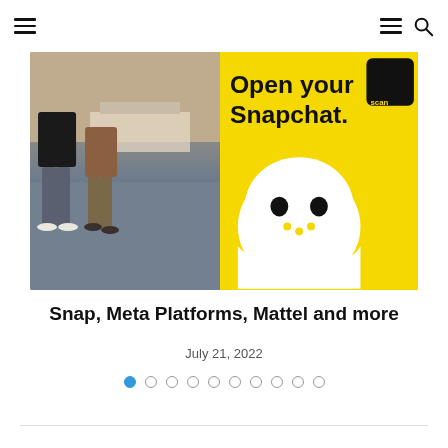[Navigation header with hamburger menu icons and search icon]
[Figure (photo): Photo showing people walking on left side with grey-blue floor, and a bright yellow Snapchat promotional sign on the right reading 'Open your Snapchat.' with the Snapchat ghost logo and QR scan badge]
Snap, Meta Platforms, Mattel and more
July 21, 2022